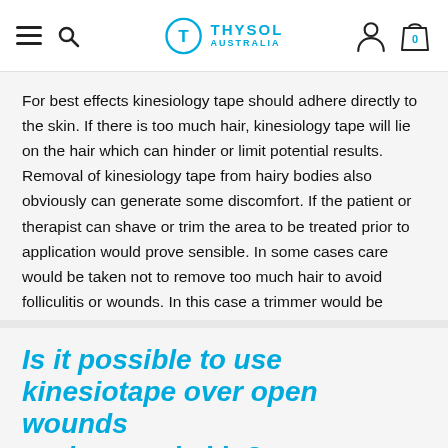THYSOL AUSTRALIA
For best effects kinesiology tape should adhere directly to the skin. If there is too much hair, kinesiology tape will lie on the hair which can hinder or limit potential results. Removal of kinesiology tape from hairy bodies also obviously can generate some discomfort. If the patient or therapist can shave or trim the area to be treated prior to application would prove sensible. In some cases care would be taken not to remove too much hair to avoid folliculitis or wounds. In this case a trimmer would be recommended.
Is it possible to use kinesiotape over open wounds or damaged skin?